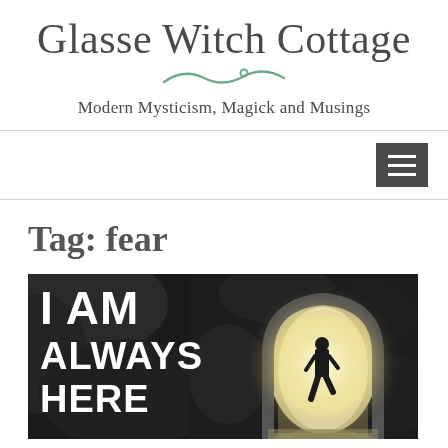Glasse Witch Cottage
Modern Mysticism, Magick and Musings
Tag: fear
[Figure (photo): Dark image with text 'I AM ALWAYS HERE' on the left side and a silhouette of a person walking through a stone archway tunnel toward bright light on the right side.]